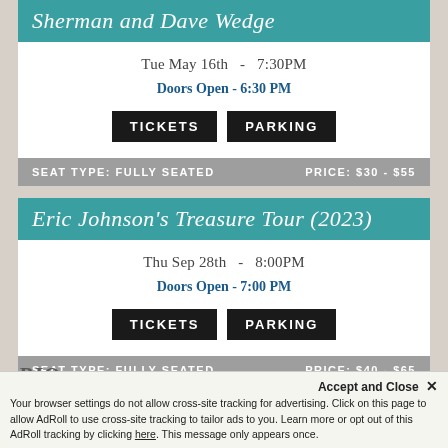Sherman and Dave Wedge
Tue May 16th  -  7:30PM
Doors Open - 6:30 PM
TICKETS   PARKING
SEAT TYPE: FULLY SEATED   PRICE: $30 - $55
Eric Johnson's Treasure Tour (2023)
Thu Sep 28th  -  8:00PM
Doors Open - 7:00 PM
TICKETS   PARKING
SEAT TYPE: FULLY SEATED   PRICE: $40 - $65
BIO
Accept and Close ×
Your browser settings do not allow cross-site tracking for advertising. Click on this page to allow AdRoll to use cross-site tracking to tailor ads to you. Learn more or opt out of this AdRoll tracking by clicking here. This message only appears once.